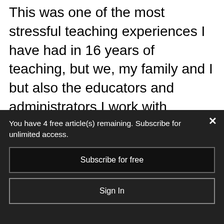This was one of the most stressful teaching experiences I have had in 16 years of teaching, but we, my family and I but also the educators and administrators I work with, believed that by shutting down schools, quarantining and staying home, we would beat the virus back.
However, since the start of summer, I have
You have 4 free article(s) remaining. Subscribe for unlimited access.
Subscribe for free
Sign In